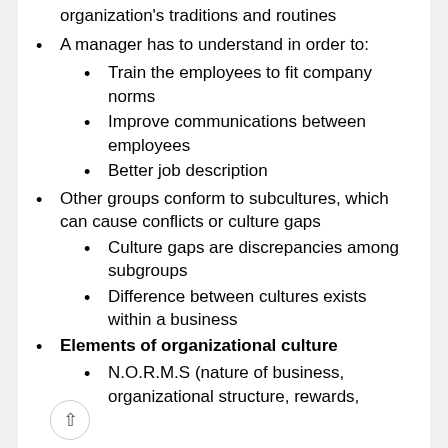Helps people fit in based on the organization's traditions and routines
A manager has to understand in order to:
Train the employees to fit company norms
Improve communications between employees
Better job description
Other groups conform to subcultures, which can cause conflicts or culture gaps
Culture gaps are discrepancies among subgroups
Difference between cultures exists within a business
Elements of organizational culture
N.O.R.M.S (nature of business, organizational structure, rewards,